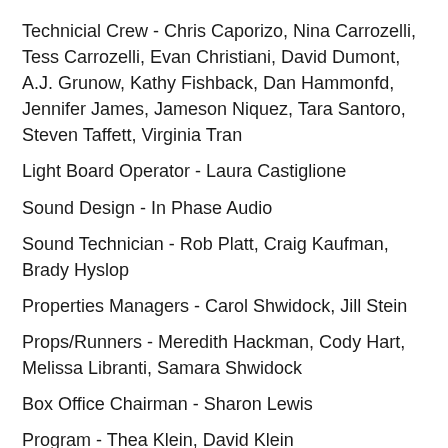Technicial Crew - Chris Caporizo, Nina Carrozelli, Tess Carrozelli, Evan Christiani, David Dumont, A.J. Grunow, Kathy Fishback, Dan Hammonfd, Jennifer James, Jameson Niquez, Tara Santoro, Steven Taffett, Virginia Tran
Light Board Operator - Laura Castiglione
Sound Design - In Phase Audio
Sound Technician - Rob Platt, Craig Kaufman, Brady Hyslop
Properties Managers - Carol Shwidock, Jill Stein
Props/Runners - Meredith Hackman, Cody Hart, Melissa Libranti, Samara Shwidock
Box Office Chairman - Sharon Lewis
Program - Thea Klein, David Klein
Concession Chairman - Julie Hart